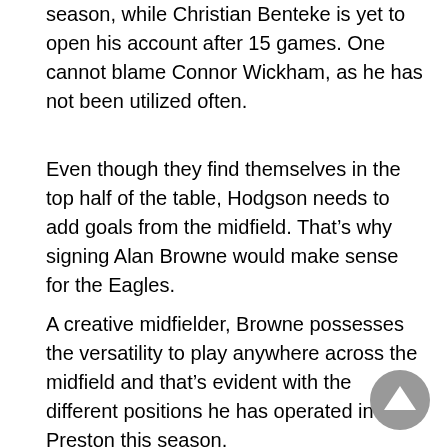season, while Christian Benteke is yet to open his account after 15 games. One cannot blame Connor Wickham, as he has not been utilized often.
Even though they find themselves in the top half of the table, Hodgson needs to add goals from the midfield. That’s why signing Alan Browne would make sense for the Eagles.
A creative midfielder, Browne possesses the versatility to play anywhere across the midfield and that’s evident with the different positions he has operated in at Preston this season.